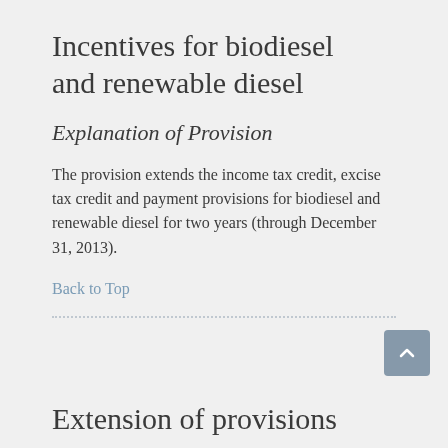Incentives for biodiesel and renewable diesel
Explanation of Provision
The provision extends the income tax credit, excise tax credit and payment provisions for biodiesel and renewable diesel for two years (through December 31, 2013).
Back to Top
Extension of provisions